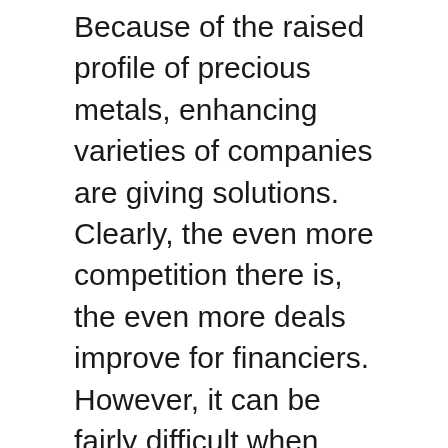Because of the raised profile of precious metals, enhancing varieties of companies are giving solutions. Clearly, the even more competition there is, the even more deals improve for financiers. However, it can be fairly difficult when there are so many gold investment companies to pick from. This is particularly real for new capitalists. To simplify things, right here’s a shortlist of the leading gold IRA investment firms presently offered. Throughout the adhering to review, we’ll cover which product and services to search for, to choose which company to attach. Hereafter, you can begin to secure your economic future promptly.
This is our comprehensive analysis of the leading gold individual retirement account